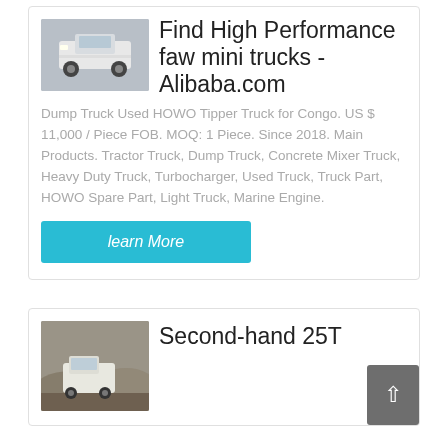[Figure (photo): Front view of a white HOWO truck/dump truck on a paved surface]
Find High Performance faw mini trucks - Alibaba.com
Dump Truck Used HOWO Tipper Truck for Congo. US $ 11,000 / Piece FOB. MOQ: 1 Piece. Since 2018. Main Products. Tractor Truck, Dump Truck, Concrete Mixer Truck, Heavy Duty Truck, Turbocharger, Used Truck, Truck Part, HOWO Spare Part, Light Truck, Marine Engine.
learn More
[Figure (photo): White truck/van parked in a rocky outdoor area with hills in the background]
Second-hand 25T